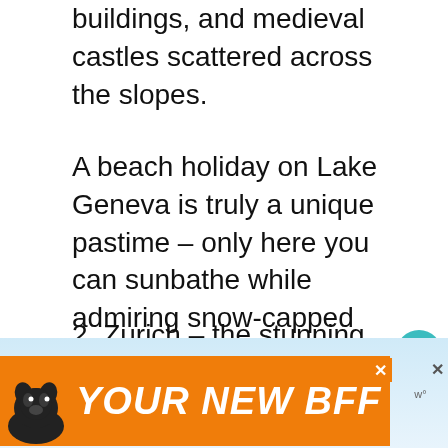buildings, and medieval castles scattered across the slopes.
A beach holiday on Lake Geneva is truly a unique pastime – only here you can sunbathe while admiring snow-capped summits.
2. Zurich – the stunning city nestled on a sprawling lake regularly recognised as one of the world's most liveable cities
[Figure (other): Advertisement banner with an orange background showing a dog and the text 'YOUR NEW BFF']